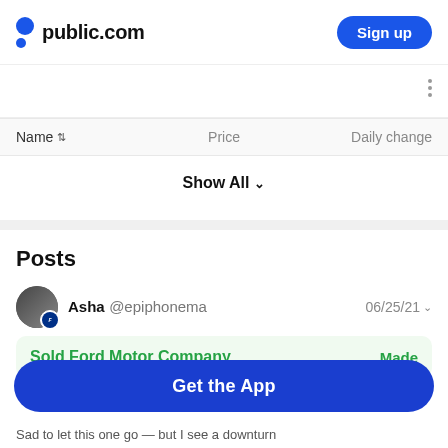public.com | Sign up
| Name | Price | Daily change |
| --- | --- | --- |
Show All
Posts
Asha @epiphonema  06/25/21
Sold Ford Motor Company  Made
Sad to let this one go — but I see a downturn